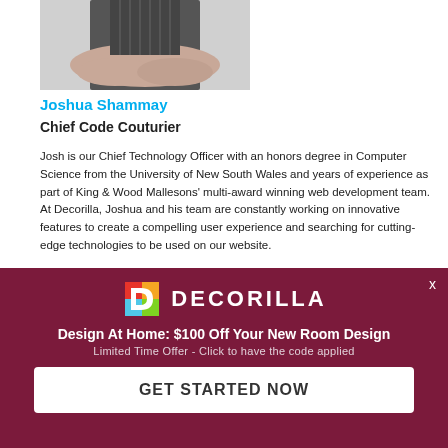[Figure (photo): Photo of Joshua Shammay, a man with arms crossed, cropped at torso]
Joshua Shammay
Chief Code Couturier
Josh is our Chief Technology Officer with an honors degree in Computer Science from the University of New South Wales and years of experience as part of King & Wood Mallesons' multi-award winning web development team. At Decorilla, Joshua and his team are constantly working on innovative features to create a compelling user experience and searching for cutting-edge technologies to be used on our website.
When he's not working on Decorilla, Joshua can be found surfing, programming robot dogs to play soccer, and testing his mobile internet coverage in some of the world's most remote places - such as the
[Figure (logo): Decorilla promotional banner overlay with logo, headline 'Design At Home: $100 Off Your New Room Design', subtext 'Limited Time Offer - Click to have the code applied', and CTA button 'GET STARTED NOW']
Design At Home: $100 Off Your New Room Design
Limited Time Offer - Click to have the code applied
GET STARTED NOW